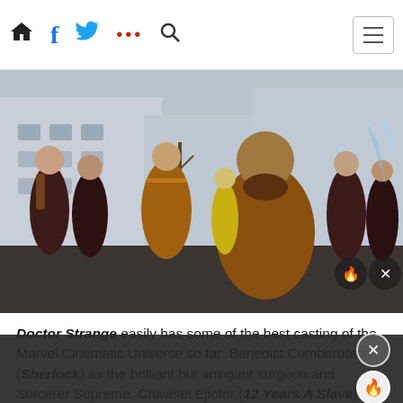Navigation bar with home, facebook, twitter, more, search icons and hamburger menu
[Figure (photo): Movie still from Doctor Strange showing characters in robes and capes on a city street, with warm brown/amber and dark maroon costumes. Overlay shows fire and close (X) buttons.]
Doctor Strange easily has some of the best casting of the Marvel Cinematic Universe so far: Benedict Cumberbatch (Sherlock) as the brilliant but arrogant surgeon and Sorcerer Supreme. Chiwetel Ejiofor (12 Years A Slave) as the powerful Mordo. Tilda Swinton (Only Lovers Left Alive) as the eth[erreal Ancient One. The...]